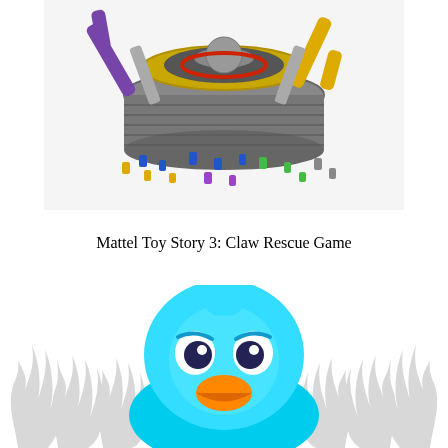[Figure (photo): Mattel Toy Story 3 Claw Rescue Game product photo showing a circular arena with mechanical claw arms in purple and yellow, with small colorful toy figures scattered around it in blue, yellow, green, and purple.]
Mattel Toy Story 3: Claw Rescue Game
[Figure (illustration): Illustrated image showing a close-up of a blue penguin character with large expressive eyes and an orange beak, set against a white background with grey flame decorative elements on the sides.]